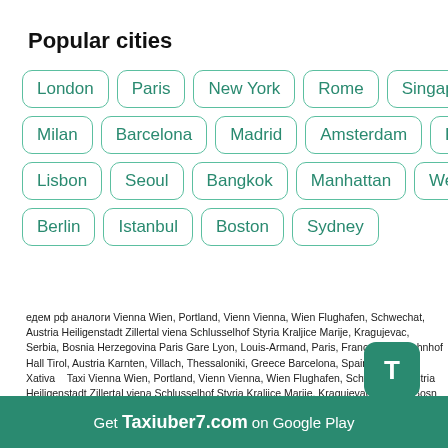Popular cities
London
Paris
New York
Rome
Singapore
Venice
Milan
Barcelona
Madrid
Amsterdam
Kuala Lumpur
Lisbon
Seoul
Bangkok
Manhattan
Westminster
Berlin
Istanbul
Boston
Sydney
едем рф аналоги Vienna Wien, Portland, Vienn Vienna, Wien Flughafen, Schwechat, Austria Heiligenstadt Zillertal viena Schlusselhof Styria Kraljice Marije, Kragujevac, Serbia, Bosnia Herzegovina Paris Gare Lyon, Louis-Armand, Paris, France Hauptbahnhof Hall Tirol, Austria Karnten, Villach, Thessaloniki, Greece Barcelona, Spain , Bulgaria Xativa   Taxi Vienna Wien, Portland, Vienn Vienna, Wien Flughafen, Schwechat, Austria Heiligenstadt Zillertal viena Schlusselhof Styria Kraljice Marije, Kragujevac, Serbia, Bosnia Herzegovina Paris Gare Lyon, Louis-Armand, Paris, France Hauptbahnhof, Hall Tirol, Austria Karnten, Villach, Thessaloniki, Greece Barcelona, Spain , Bulgaria Xativa 2022 Ca Vienna Wien, Portland, Vienn Vienna, Wien Flughafen, Schwechat, Austria stadt Zillertal viena Schlusselhof Styria Kraljice Marije, Kragujevac, Serbia, Bos egovin Paris Gare Lyon, Louis-Armand, Paris, France Hauptbahnhof, Hall Tirol, A arnten Villach, Thessaloniki, Greece Barcelona, Spain , Bulgaria Xativa 2022 taksi a Wie Portland, Vienn Vienna, Wien Flughafen, Schwechat, Austria Heiligenstadt Zillertal viena Schlusselh nia Herzegovina Paris Gare ol, Austria Karnten, Villach, Thessaloniki, Greece Barcelona, Spain , Bulgaria Xativa 2022 Taxiuber , You can find
Get Taxiuber7.com on Google Play